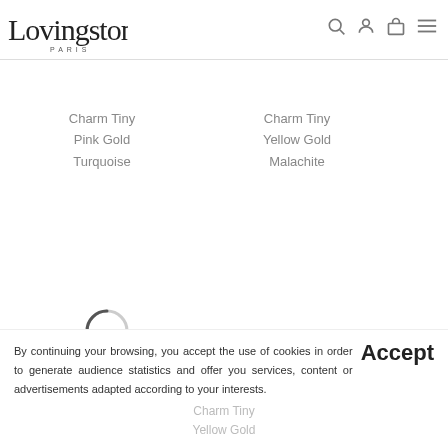Lovingstone Paris — navigation header with search, account, bag, and menu icons
Charm Tiny Pink Gold Turquoise
Charm Tiny Yellow Gold Malachite
[Figure (other): Loading spinner circle (partial arc, grey)]
By continuing your browsing, you accept the use of cookies in order to generate audience statistics and offer you services, content or advertisements adapted according to your interests.
Accept
Charm Tiny Yellow Gold